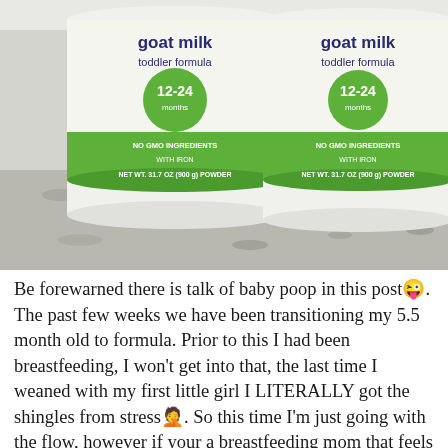[Figure (photo): Two cans of goat milk toddler formula (12-24 months, No GMO Ingredients, With Iron, Net Wt. 31.7 oz (900g) Powder) sitting on a granite countertop]
Be forewarned there is talk of baby poop in this post😜. The past few weeks we have been transitioning my 5.5 month old to formula. Prior to this I had been breastfeeding, I won't get into that, the last time I weaned with my first little girl I LITERALLY got the shingles from stress🤦. So this time I'm just going with the flow, however if your a breastfeeding mom that feels guilty 1. don't and 2. message me, let's chat I'm all about helping anyone who can relate! Anyway so she